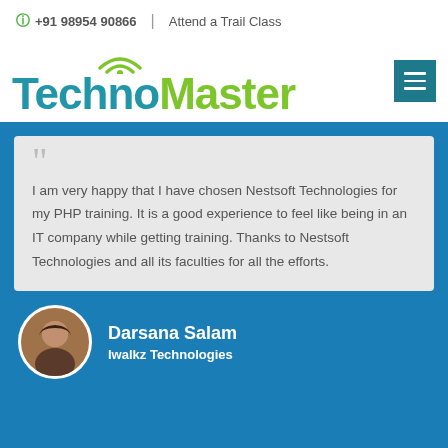+91 98954 90866 | Attend a Trail Class
[Figure (logo): TechnoMaster logo with wifi icon above, Techno in teal and Master in green]
I am very happy that I have chosen Nestsoft Technologies for my PHP training. It is a good experience to feel like being in an IT company while getting training. Thanks to Nestsoft Technologies and all its faculties for all the efforts.
Darsana Salam
Iwalkz Technologies